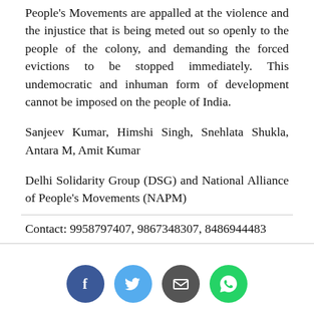People's Movements are appalled at the violence and the injustice that is being meted out so openly to the people of the colony, and demanding the forced evictions to be stopped immediately. This undemocratic and inhuman form of development cannot be imposed on the people of India.
Sanjeev Kumar, Himshi Singh, Snehlata Shukla, Antara M, Amit Kumar
Delhi Solidarity Group (DSG) and National Alliance of People's Movements (NAPM)
Contact: 9958797407, 9867348307, 8486944483
[Figure (other): Social media icon bar with Facebook (blue circle), Twitter (light blue circle), Email (dark grey circle), WhatsApp (green circle) icons]